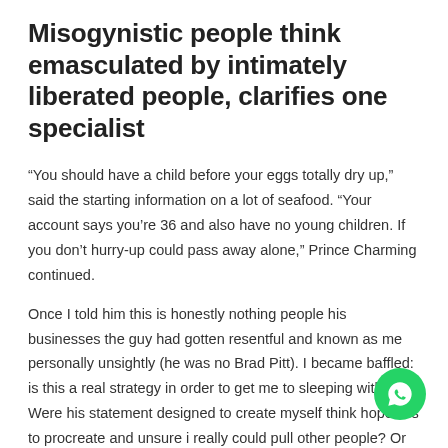Misogynistic people think emasculated by intimately liberated people, clarifies one specialist
“You should have a child before your eggs totally dry up,” said the starting information on a lot of seafood. “Your account says you’re 36 and also have no young children. If you don’t hurry-up could pass away alone,” Prince Charming continued.
Once I told him this is honestly nothing people his businesses the guy had gotten resentful and known as me personally unsightly (he was no Brad Pitt). I became baffled: is this a real strategy in order to get me to sleeping with him? Were his statement designed to create myself think hopeless to procreate and unsure i really could pull other people? Or is he simply taking pleasure in getting indicate?
More climate distinct the secure of online dating sites often combining...